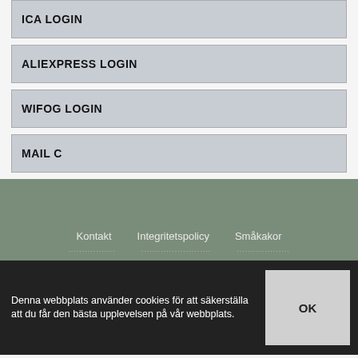ICA LOGIN
ALIEXPRESS LOGIN
WIFOG LOGIN
MAIL C
Kontakt   Integritetspolicy   Småkakor
V1.Logun.Com.Se © 2022
Denna webbplats använder cookies för att säkerställa att du får den bästa upplevelsen på vår webbplats.